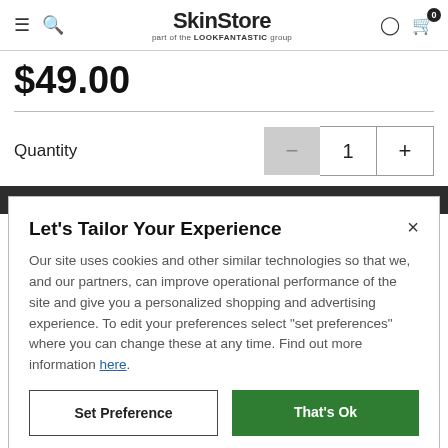SkinStore — part of the LOOKFANTASTIC group
$49.00
Quantity  —  1  +
Let's Tailor Your Experience
Our site uses cookies and other similar technologies so that we, and our partners, can improve operational performance of the site and give you a personalized shopping and advertising experience. To edit your preferences select "set preferences" where you can change these at any time. Find out more information here.
Set Preference   That's Ok